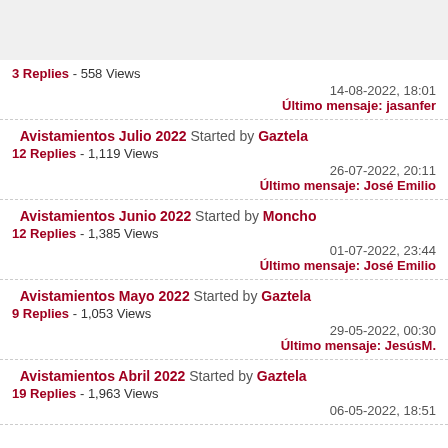3 Replies - 558 Views
14-08-2022, 18:01
Último mensaje: jasanfer
Avistamientos Julio 2022 Started by Gaztela
12 Replies - 1,119 Views
26-07-2022, 20:11
Último mensaje: José Emilio
Avistamientos Junio 2022 Started by Moncho
12 Replies - 1,385 Views
01-07-2022, 23:44
Último mensaje: José Emilio
Avistamientos Mayo 2022 Started by Gaztela
9 Replies - 1,053 Views
29-05-2022, 00:30
Último mensaje: JesúsM.
Avistamientos Abril 2022 Started by Gaztela
19 Replies - 1,963 Views
06-05-2022, 18:51